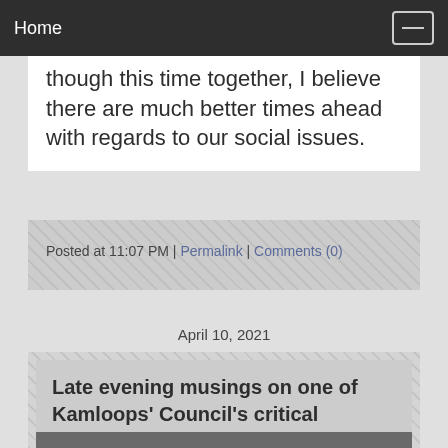Home
though this time together, I believe there are much better times ahead with regards to our social issues.
Posted at 11:07 PM | Permalink | Comments (0)
April 10, 2021
Late evening musings on one of Kamloops' Council's critical responsibilities...
[Figure (photo): Partial view of a photo at the bottom of the page]